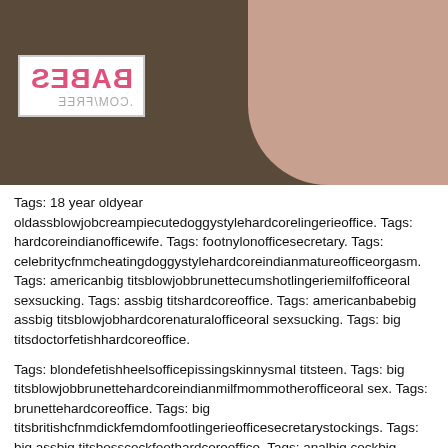[Figure (photo): Thumbnail image with mirrored BABES.COM/FREE logo overlay on dark background]
Tags: 18 year oldyear oldassblowjobcreampiecutedoggystylehardcorelingerieoffice. Tags: hardcoreindianofficewife. Tags: footnylonofficesecretary. Tags: celebritycfnmcheatingdoggystylehardcoreindianmatureofficeorgasm. Tags: americanbig titsblowjobbrunettecumshotlingeriemilfofficeoral sexsucking. Tags: assbig titshardcoreoffice. Tags: americanbabebig assbig titsblowjobhardcorenaturalofficeoral sexsucking. Tags: big titsdoctorfetishhardcoreoffice.
Tags: blondefetishheelsofficepissingskinnysmal titsteen. Tags: big titsblowjobbrunettehardcoreindianmilfmommotherofficeoral sex. Tags: brunettehardcoreoffice. Tags: big titsbritishcfnmdickfemdomfootlingerieofficesecretarystockings. Tags: big assbig titsbosscockfoothardcoreoffice. Tags: analbig cockbig titsblackblowjobebonyeuropeaninterracialofficeoral sex.
Tags: babebig assbig cockbig titsbrunettehairyhandjoblingerieofficeslut. Tags: big